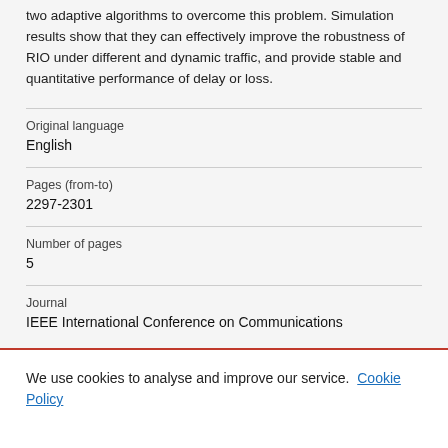two adaptive algorithms to overcome this problem. Simulation results show that they can effectively improve the robustness of RIO under different and dynamic traffic, and provide stable and quantitative performance of delay or loss.
| Original language | English |
| Pages (from-to) | 2297-2301 |
| Number of pages | 5 |
| Journal | IEEE International Conference on Communications |
We use cookies to analyse and improve our service. Cookie Policy